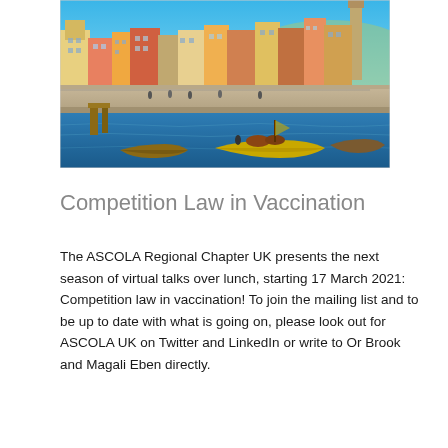[Figure (photo): A colourful waterfront cityscape showing Porto, Portugal, with traditional buildings along a quay. Several boats, including a yellow rabelo boat, are moored on a blue river in the foreground under a bright blue sky.]
Competition Law in Vaccination
The ASCOLA Regional Chapter UK presents the next season of virtual talks over lunch, starting 17 March 2021: Competition law in vaccination! To join the mailing list and to be up to date with what is going on, please look out for ASCOLA UK on Twitter and LinkedIn or write to Or Brook and Magali Eben directly.